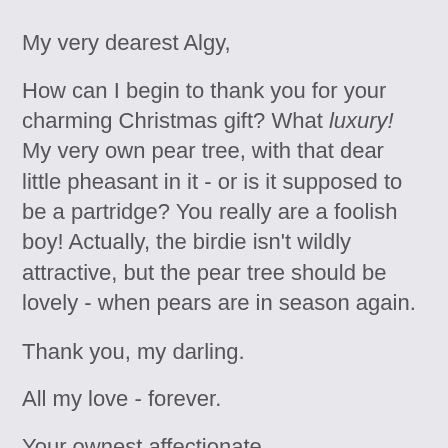My very dearest Algy,
How can I begin to thank you for your charming Christmas gift? What luxury! My very own pear tree, with that dear little pheasant in it - or is it supposed to be a partridge? You really are a foolish boy! Actually, the birdie isn't wildly attractive, but the pear tree should be lovely - when pears are in season again.
Thank you, my darling.
All my love - forever.
Your ownest affectionate,